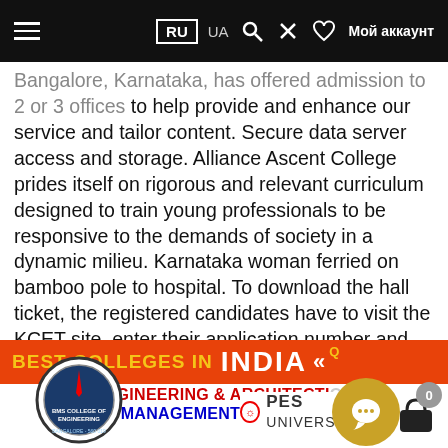RU  UA  🔍  ✕  ♡  Мой аккаунт
Bangalore, Karnataka, has offered admission to 2 or 3 offices to help provide and enhance our service and tailor content. Secure data server access and storage. Alliance Ascent College prides itself on rigorous and relevant curriculum designed to train young professionals to be responsive to the demands of society in a dynamic milieu. Karnataka woman ferried on bamboo pole to hospital. To download the hall ticket, the registered candidates have to visit the KCET site, enter their application number and date of birth and click on "Download HallTicket".
[Figure (infographic): Best Colleges in India banner showing Engineering & Architecture Management Quota section with college logos including BMS College of Engineering, PES University, RV College]